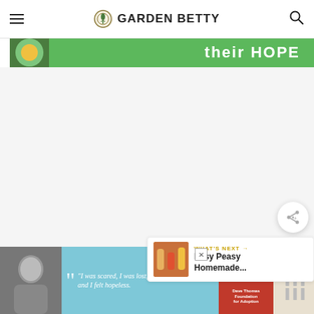GARDEN BETTY
[Figure (photo): Green advertisement banner with text 'their HOPE' and hands holding something, partial view at top]
[Figure (screenshot): Large white/light gray empty content area of the Garden Betty website]
[Figure (other): Circular share button with share icon]
[Figure (other): WHAT'S NEXT widget showing 'Easy Peasy Homemade...' with a thumbnail of colorful drinks]
[Figure (photo): Bottom advertisement banner: Dave Thomas Foundation for Adoption - 'I was scared, I was lost, and I felt hopeless.' quote with person photo]